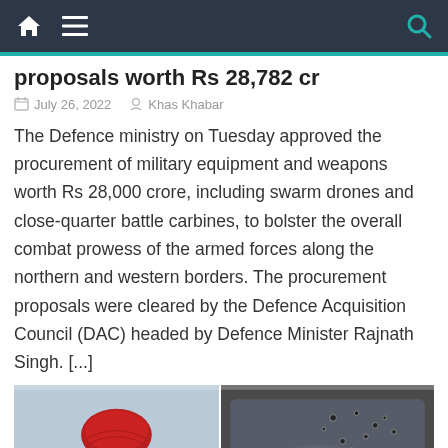Navigation bar with home, menu, and search icons
proposals worth Rs 28,782 cr
July 26, 2022   Khas Khabar
The Defence ministry on Tuesday approved the procurement of military equipment and weapons worth Rs 28,000 crore, including swarm drones and close-quarter battle carbines, to bolster the overall combat prowess of the armed forces along the northern and western borders. The procurement proposals were cleared by the Defence Acquisition Council (DAC) headed by Defence Minister Rajnath Singh. [...]
[Figure (photo): Photo of a man wearing a red turban against a light blue background]
[Figure (photo): Photo of a vehicle windshield with bullet holes and a bright light source, with text overlay showing logos]